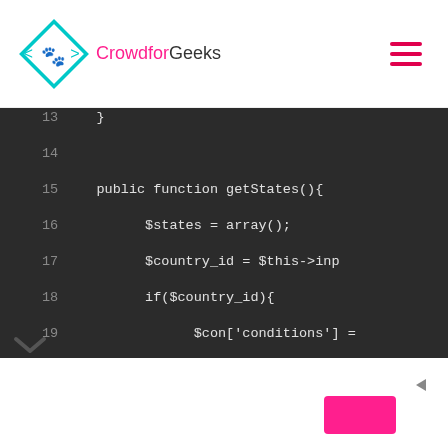CrowdforGeeks
[Figure (screenshot): PHP code editor screenshot showing lines 13-26 of a PHP class with public functions getStates() and getCities(), including $states = array(), $country_id = $this->inp, if($country_id){ $con['conditions'] =, $states = $this->dro, }, echo json_encode($states, }, and $cities = array(); on dark background]